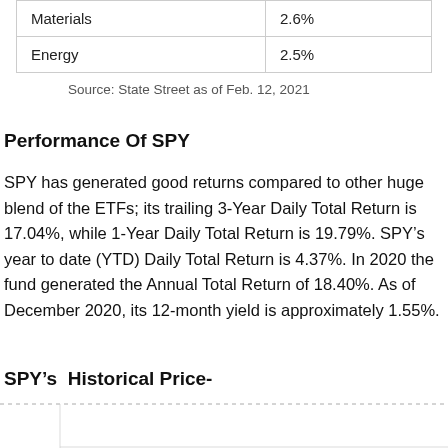|  |  |
| --- | --- |
| Materials | 2.6% |
| Energy | 2.5% |
Source: State Street as of Feb. 12, 2021
Performance Of SPY
SPY has generated good returns compared to other huge blend of the ETFs; its trailing 3-Year Daily Total Return is 17.04%, while 1-Year Daily Total Return is 19.79%. SPY’s year to date (YTD) Daily Total Return is 4.37%. In 2020 the fund generated the Annual Total Return of 18.40%. As of December 2020, its 12-month yield is approximately 1.55%.
SPY’s  Historical Price-
[Figure (continuous-plot): Bottom portion of a historical price chart for SPY, showing only the very top dashed grid line visible at the bottom of the page.]